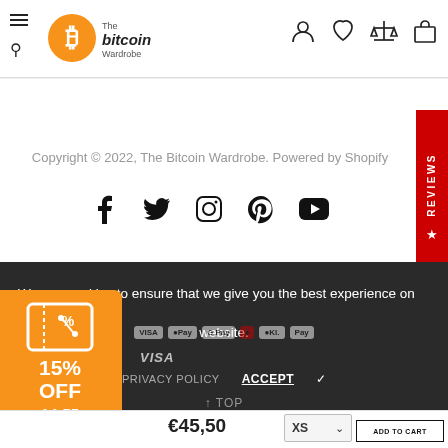[Figure (screenshot): Navigation header with hamburger/search icons, The Bitcoin Wardrobe logo, and user account/wishlist/compare/cart icons]
Copyright © 2022, The Bitcoin Wardrobe. Powered by Shopify
[Figure (other): Social media icons: Facebook, Twitter, Instagram, Pinterest, YouTube]
[Figure (other): Red REVIEWS tab on right side]
We use cookies to ensure that we give you the best experience on our website.
PRIVACY POLICY  ACCEPT ✓
↑ TOP
[Figure (other): Orange coupon widget showing 15% OFF with timer 14:55]
€45,50
XS
ADD TO CART